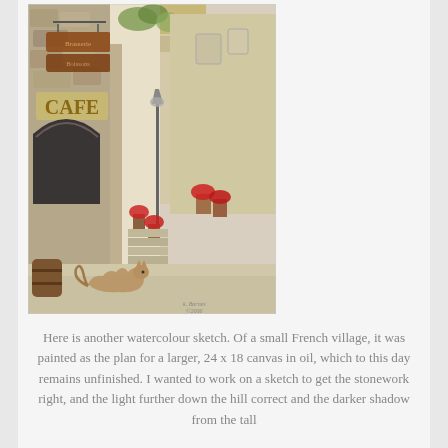[Figure (illustration): Watercolour sketch of a small French village alleyway with stone buildings, a cafe sign, potted red flowers, a street lamp, and a cat walking in the foreground.]
Here is another watercolour sketch.  Of a small French village, it was painted as the plan for a larger, 24 x 18 canvas in oil, which to this day remains unfinished.  I wanted to work on a sketch to get the stonework right, and the light further down the hill correct and the darker shadow from the tall